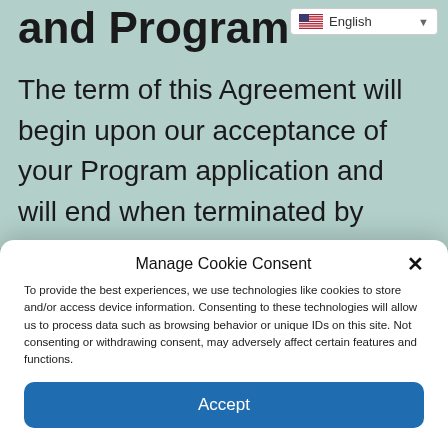and Program
[Figure (screenshot): Language selector dropdown showing English with US flag icon]
The term of this Agreement will begin upon our acceptance of your Program application and will end when terminated by either party. Either you or we may terminate this Agreement at any time, with or without cause, by giving the other
Manage Cookie Consent
To provide the best experiences, we use technologies like cookies to store and/or access device information. Consenting to these technologies will allow us to process data such as browsing behavior or unique IDs on this site. Not consenting or withdrawing consent, may adversely affect certain features and functions.
Accept